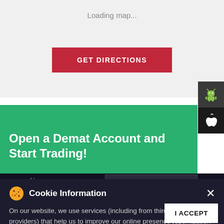Loading map...
GET DIRECTIONS
Open a Demat Account and Start Trading!
Name
Name *
Mobile Number
Email ID
Email *
Open an account
Cookie Information
On our website, we use services (including from third-party providers) that help us to improve our online presence (optimization of website) and to display content that is geared to their interests. We need your consent before being able to use these services.
I ACCEPT